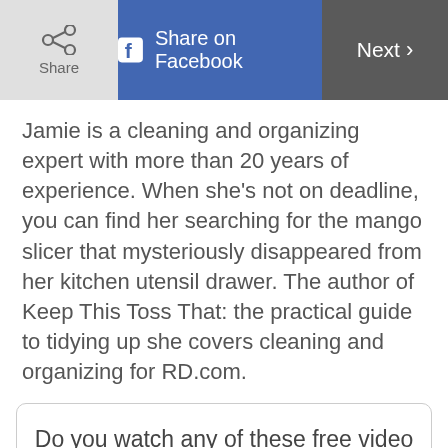Share | Share on Facebook | Next
Jamie is a cleaning and organizing expert with more than 20 years of experience. When she's not on deadline, you can find her searching for the mango slicer that mysteriously disappeared from her kitchen utensil drawer. The author of Keep This Toss That: the practical guide to tidying up she covers cleaning and organizing for RD.com.
Do you watch any of these free video channels on your smart TV (Samsung, LG) or other streaming app(s) (ex: Roku, Pluto)?